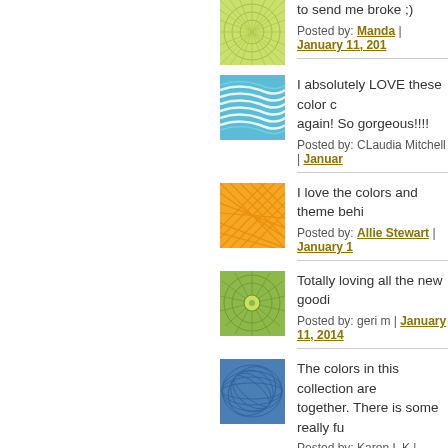to send me broke ;)
Posted by: Manda | January 11, 201...
I absolutely LOVE these color c... again! So gorgeous!!!!
Posted by: CLaudia Mitchell | Januar...
I love the colors and theme behi...
Posted by: Allie Stewart | January 1...
Totally loving all the new goodi...
Posted by: geri m | January 11, 2014...
The colors in this collection are ... together. There is some really fu...
Posted by: Karen L K | January 11, 2...